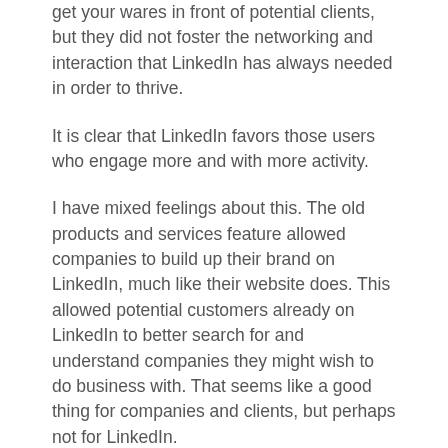get your wares in front of potential clients, but they did not foster the networking and interaction that LinkedIn has always needed in order to thrive.
It is clear that LinkedIn favors those users who engage more and with more activity.
I have mixed feelings about this. The old products and services feature allowed companies to build up their brand on LinkedIn, much like their website does. This allowed potential customers already on LinkedIn to better search for and understand companies they might wish to do business with. That seems like a good thing for companies and clients, but perhaps not for LinkedIn.
What are Showcase Pages?
Think of a LinkedIn showcase page as a dynamic web page. It's like web 2.0 for LinkedIn companies. Insteead of